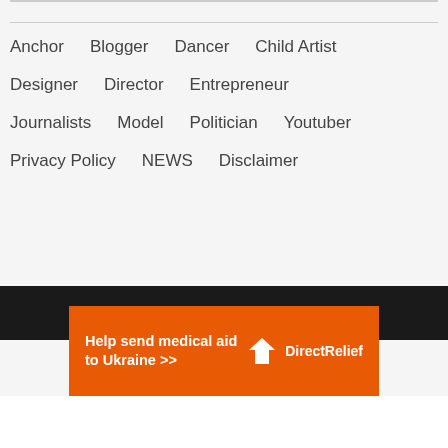Anchor
Blogger
Dancer
Child Artist
Designer
Director
Entrepreneur
Journalists
Model
Politician
Youtuber
Privacy Policy
NEWS
Disclaimer
The Personage Copyright © 2022
[Figure (infographic): Orange advertisement banner for Direct Relief: 'Help send medical aid to Ukraine >>' with Direct Relief logo on right side]